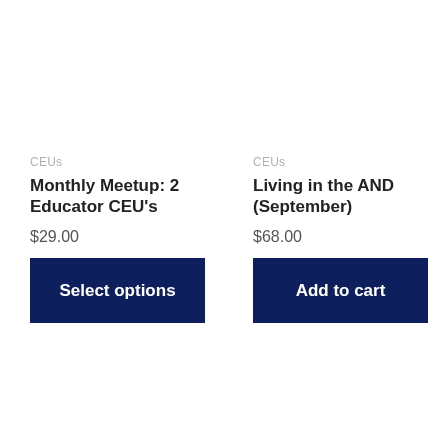CEUs
Monthly Meetup: 2 Educator CEU's
$29.00
Select options
CEUs
Living in the AND (September)
$68.00
Add to cart